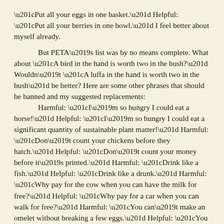“Put all your eggs in one basket.” Helpful: “Put all your berries in one bowl.” I feel better about myself already.
But PETA’s list was by no means complete. What about “A bird in the hand is worth two in the bush?” Wouldn’t “A luffa in the hand is worth two in the bush” be better? Here are some other phrases that should be banned and my suggested replacements: Harmful: “I’m so hungry I could eat a horse!” Helpful: “I’m so hungry I could eat a significant quantity of sustainable plant matter!” Harmful: “Don’t count your chickens before they hatch.” Helpful: “Don’t count your money before it’s printed.” Harmful: “Drink like a fish.” Helpful: “Drink like a drunk.” Harmful: “Why pay for the cow when you can have the milk for free?” Helpful: “Why pay for a car when you can walk for free?” Harmful: “You can’t make an omelet without breaking a few eggs.” Helpful: “You can’t make a spliff without breaking a few buds.” Harmful: “It’s a dog-eat-dog world.” Helpful: “It’s a crappy world.”
One thing is certain: you can’t swing a dead cat without hitting a virtue-signaling, politically correct moron with an I.Q. of a tree frog. What a bunch of bullshit.